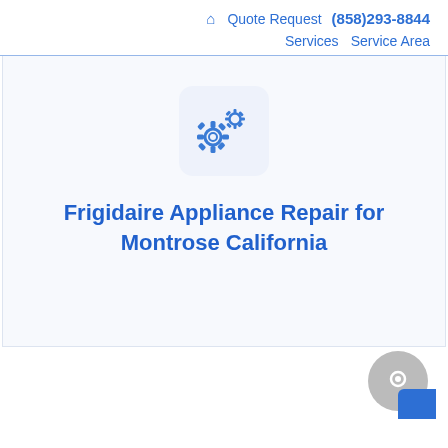🏠 Quote Request (858)293-8844 Services Service Area
[Figure (illustration): Gear/settings icon on light blue rounded square background]
Frigidaire Appliance Repair for Montrose California